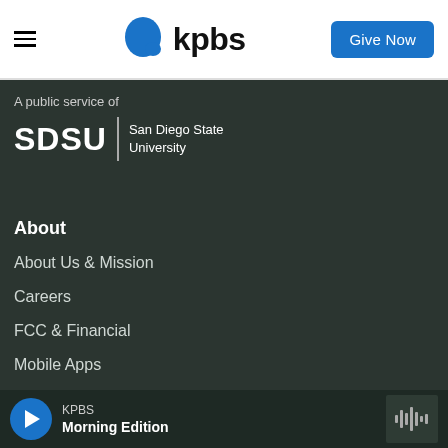KPBS — Give Now
[Figure (logo): KPBS logo with blue speech bubble icon and bold 'kpbs' wordmark]
A public service of
[Figure (logo): SDSU | San Diego State University logo in white on dark background]
About
About Us & Mission
Careers
FCC & Financial
Mobile Apps
Press Releases
KPBS Morning Edition